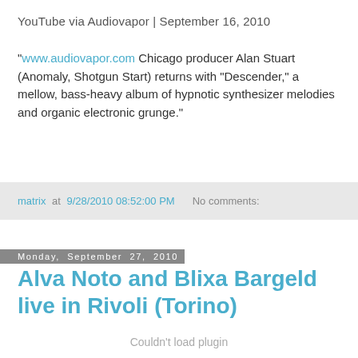YouTube via Audiovapor | September 16, 2010
"www.audiovapor.com Chicago producer Alan Stuart (Anomaly, Shotgun Start) returns with "Descender," a mellow, bass-heavy album of hypnotic synthesizer melodies and organic electronic grunge."
matrix at 9/28/2010 08:52:00 PM   No comments:
Monday, September 27, 2010
Alva Noto and Blixa Bargeld live in Rivoli (Torino)
Couldn't load plugin